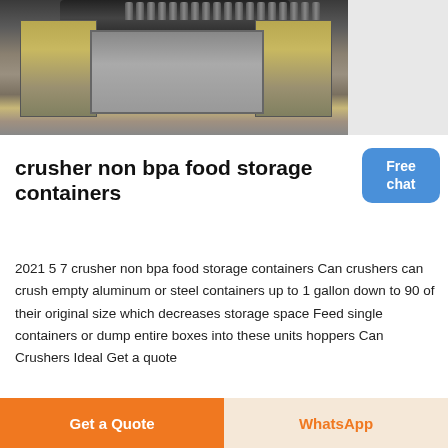[Figure (photo): Industrial crusher machinery photographed from above, showing metal jaws/arms with ridged top mechanism and yellow-brown side plates on concrete floor]
crusher non bpa food storage containers
2021 5 7 crusher non bpa food storage containers Can crushers can crush empty aluminum or steel containers up to 1 gallon down to 90 of their original size which decreases storage space Feed single containers or dump entire boxes into these units hoppers Can Crushers Ideal Get a quote
Get a Quote
WhatsApp